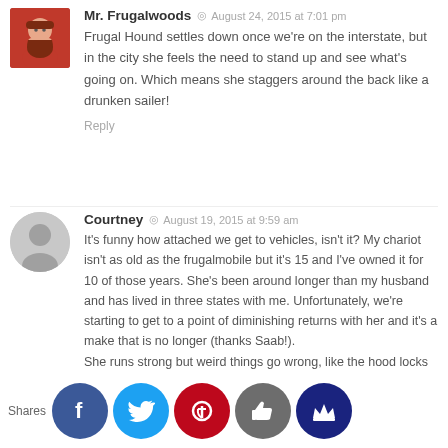[Figure (photo): Avatar photo of Mr. Frugalwoods - a bearded man in red shirt]
Mr. Frugalwoods  August 24, 2015 at 7:01 pm
Frugal Hound settles down once we're on the interstate, but in the city she feels the need to stand up and see what's going on. Which means she staggers around the back like a drunken sailer!
Reply
[Figure (illustration): Generic user avatar silhouette icon in gray circle]
Courtney  August 19, 2015 at 9:59 am
It's funny how attached we get to vehicles, isn't it? My chariot isn't as old as the frugalmobile but it's 15 and I've owned it for 10 of those years. She's been around longer than my husband and has lived in three states with me. Unfortunately, we're starting to get to a point of diminishing returns with her and it's a make that is no longer (thanks Saab!).
She runs strong but weird things go wrong, like the hood locks down and refuses to open. that makes maintenance even tougher. 🙂
I feel like I could write my own ode, particularly when I compare my ride to the my co-workers who feel they need massive SUVs for each child or the new Subaru to take on…
Shares